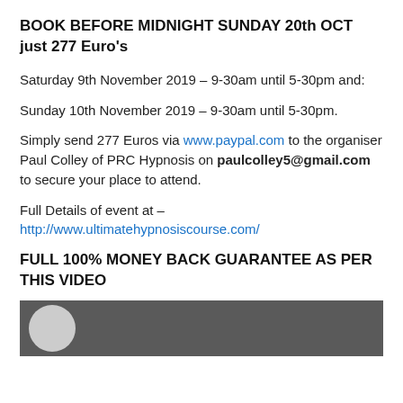BOOK BEFORE MIDNIGHT SUNDAY 20th OCT just 277 Euro's
Saturday 9th November 2019 – 9-30am until 5-30pm and:
Sunday 10th November 2019 – 9-30am until 5-30pm.
Simply send 277 Euros via www.paypal.com to the organiser Paul Colley of PRC Hypnosis on paulcolley5@gmail.com to secure your place to attend.
Full Details of event at –
http://www.ultimatehypnosiscourse.com/
FULL 100% MONEY BACK GUARANTEE AS PER THIS VIDEO
[Figure (photo): Photo strip showing a person at an event or presentation, dark background with circular avatar visible on left.]